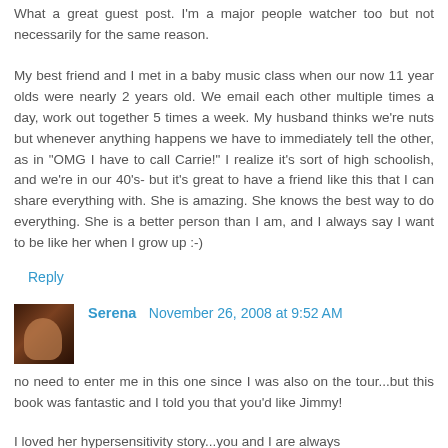What a great guest post. I'm a major people watcher too but not necessarily for the same reason.
My best friend and I met in a baby music class when our now 11 year olds were nearly 2 years old. We email each other multiple times a day, work out together 5 times a week. My husband thinks we're nuts but whenever anything happens we have to immediately tell the other, as in "OMG I have to call Carrie!" I realize it's sort of high schoolish, and we're in our 40's- but it's great to have a friend like this that I can share everything with. She is amazing. She knows the best way to do everything. She is a better person than I am, and I always say I want to be like her when I grow up :-)
Reply
Serena  November 26, 2008 at 9:52 AM
no need to enter me in this one since I was also on the tour...but this book was fantastic and I told you that you'd like Jimmy!
I loved her hypersensitivity story...you and I are always